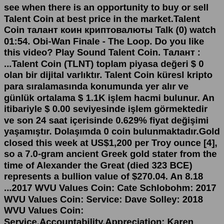see when there is an opportunity to buy or sell Talent Coin at best price in the market.Talent Coin Талант Коин криптовалюты Talk (0) watch 01:54. Obi-Wan Finale - The Loop. Do you like this video? Play Sound Talent Coin. Талант : ...Talent Coin (TLNT) toplam piyasa değeri $ 0 olan bir dijital varlıktır. Talent Coin küresl kripto para sıralamasında konumunda yer alır ve günlük ortalama $ 1.1K işlem hacmi bulunur. An itibariyle $ 0.00 seviyesinde işlem görmektedir ve son 24 saat içerisinde 0.629% fiyat değişimi yaşamıştır. Dolaşımda 0 coin bulunmaktadır.Gold closed this week at US$1,200 per Troy ounce [4], so a 7.0-gram ancient Greek gold stater from the time of Alexander the Great (died 323 BCE) represents a bullion value of $270.04. An 8.18 ...2017 WVU Values Coin: Cate Schlobohm: 2017 WVU Values Coin: Service: Dave Solley: 2018 WVU Values Coin: Service,Accountability,Appreciation: Karen Centofanti: 2018 WVU Values Coin: Powsiri Klinkhachorn: 2018 WVU Values Coin: Service,Appreciation: Robin Hissam: 2018 WVU